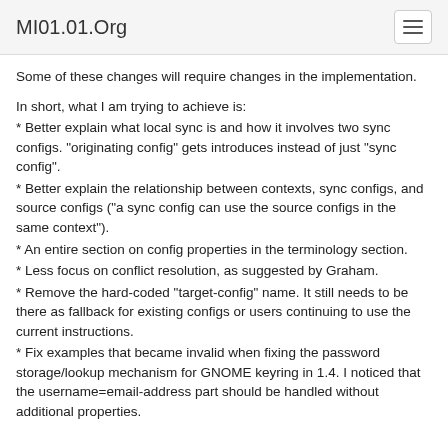MI01.01.Org
Some of these changes will require changes in the implementation.
In short, what I am trying to achieve is:
* Better explain what local sync is and how it involves two sync configs. "originating config" gets introduces instead of just "sync config".
* Better explain the relationship between contexts, sync configs, and source configs ("a sync config can use the source configs in the same context").
* An entire section on config properties in the terminology section.
* Less focus on conflict resolution, as suggested by Graham.
* Remove the hard-coded "target-config" name. It still needs to be there as fallback for existing configs or users continuing to use the current instructions.
* Fix examples that became invalid when fixing the password storage/lookup mechanism for GNOME keyring in 1.4. I noticed that the username=email-address part should be handled without additional properties.